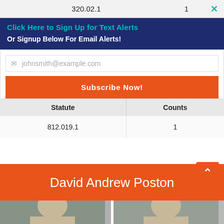| Statute | Counts |
| --- | --- |
| 320.02.1 | 1 |
Click Here to Sign Up for Text Alerts
Or Signup Below For Email Alerts!
johnsmith@example.com
Subscribe Now!
| Statute | Counts |
| --- | --- |
| 812.019.1 | 1 |
David Andrew Poston
[Figure (photo): Two mugshot photos side by side from Brevard County Sheriff's Office]
Brevard County Sheriff's Office